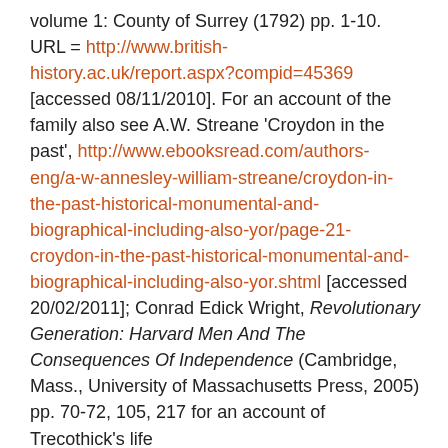volume 1: County of Surrey (1792) pp. 1-10. URL = http://www.british-history.ac.uk/report.aspx?compid=45369 [accessed 08/11/2010]. For an account of the family also see A.W. Streane 'Croydon in the past', http://www.ebooksread.com/authors-eng/a-w-annesley-william-streane/croydon-in-the-past-historical-monumental-and-biographical-including-also-yor/page-21-croydon-in-the-past-historical-monumental-and-biographical-including-also-yor.shtml [accessed 20/02/2011]; Conrad Edick Wright, Revolutionary Generation: Harvard Men And The Consequences Of Independence (Cambridge, Mass., University of Massachusetts Press, 2005) pp. 70-72, 105, 217 for an account of Trecothick's life